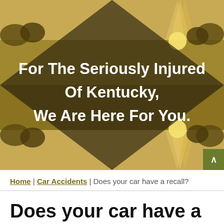[Figure (illustration): Hero banner with a sepia-toned rural Kentucky landscape featuring fields and a sunset with sun rays, overlaid with a dark diamond/hourglass geometric shape creating a mirror reflection effect. White bold text reads: For The Seriously Injured Of Kentucky, We Are Here For You.]
Home | Car Accidents | Does your car have a recall?
Does your car have a